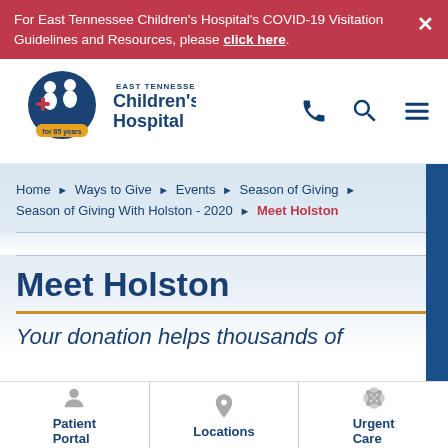For East Tennessee Children's Hospital's COVID-19 Visitation Guidelines and Resources, please click here.
[Figure (logo): East Tennessee Children's Hospital logo with two children figures and '85 years' banner]
Home ▶ Ways to Give ▶ Events ▶ Season of Giving ▶ Season of Giving With Holston - 2020 ▶ Meet Holston
Meet Holston
Your donation helps thousands of